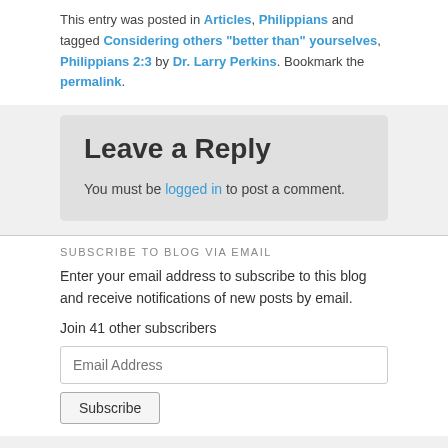This entry was posted in Articles, Philippians and tagged Considering others "better than" yourselves, Philippians 2:3 by Dr. Larry Perkins. Bookmark the permalink.
Leave a Reply
You must be logged in to post a comment.
SUBSCRIBE TO BLOG VIA EMAIL
Enter your email address to subscribe to this blog and receive notifications of new posts by email.
Join 41 other subscribers